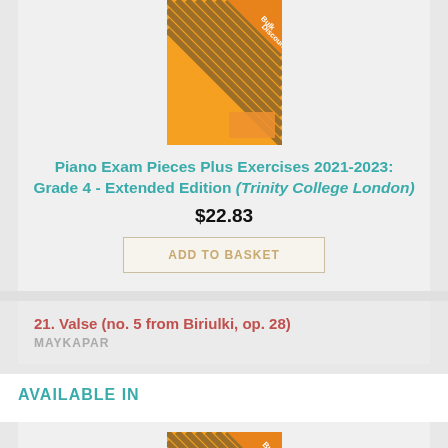[Figure (photo): Book cover of Piano Exam Pieces Plus Exercises 2021-2023 Grade 4 Extended Edition with orange cover and bulk discount badge]
Piano Exam Pieces Plus Exercises 2021-2023: Grade 4 - Extended Edition (Trinity College London)
$22.83
ADD TO BASKET
21. Valse (no. 5 from Biriulki, op. 28)
MAYKAPAR
AVAILABLE IN
[Figure (photo): Book cover partially visible with orange cover and Bulk Discount badge]